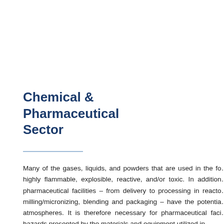Chemical & Pharmaceutical Sector
Many of the gases, liquids, and powders that are used in the fo... highly flammable, explosible, reactive, and/or toxic. In addition... pharmaceutical facilities – from delivery to processing in reacto... milling/micronizing, blending and packaging – have the potentia... atmospheres. It is therefore necessary for pharmaceutical faci... hazards presented by the materials and equipment utilized in...